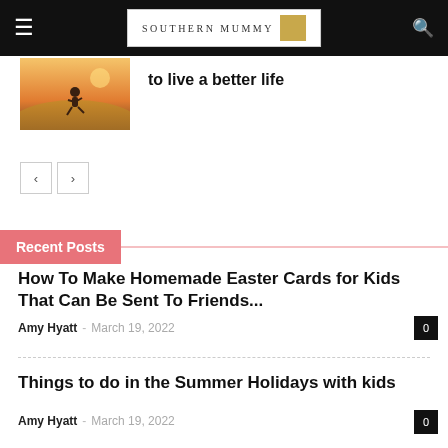SOUTHERN MUMMY
[Figure (photo): Person jumping in a field at sunset/golden hour]
to live a better life
Recent Posts
How To Make Homemade Easter Cards for Kids That Can Be Sent To Friends...
Amy Hyatt - March 19, 2022
Things to do in the Summer Holidays with kids
Amy Hyatt - March 19, 2022